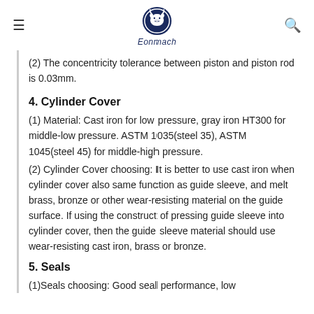Eonmach
(2) The concentricity tolerance between piston and piston rod is 0.03mm.
4. Cylinder Cover
(1) Material: Cast iron for low pressure, gray iron HT300 for middle-low pressure. ASTM 1035(steel 35), ASTM 1045(steel 45) for middle-high pressure.
(2) Cylinder Cover choosing: It is better to use cast iron when cylinder cover also same function as guide sleeve, and melt brass, bronze or other wear-resisting material on the guide surface. If using the construct of pressing guide sleeve into cylinder cover, then the guide sleeve material should use wear-resisting cast iron, brass or bronze.
5. Seals
(1)Seals choosing: Good seal performance, low